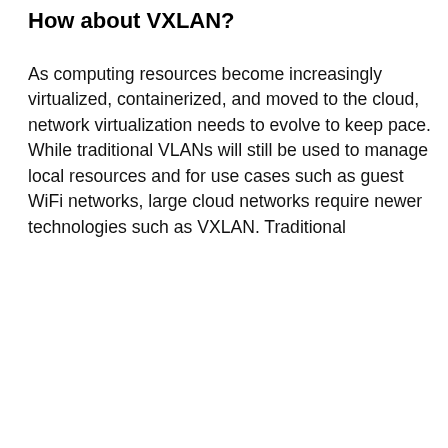How about VXLAN?
As computing resources become increasingly virtualized, containerized, and moved to the cloud, network virtualization needs to evolve to keep pace. While traditional VLANs will still be used to manage local resources and for use cases such as guest WiFi networks, large cloud networks require newer technologies such as VXLAN. Traditional
We use cookies on our website to give you the most relevant experience by remembering your preferences and repeat visits. By clicking “Accept All”, you consent to the use of ALL the cookies. However, you may visit "Cookie Settings" to provide a controlled consent.